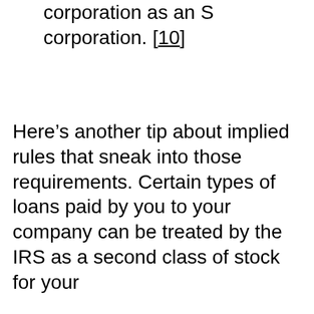corporation as an S corporation. [10]
Here’s another tip about implied rules that sneak into those requirements. Certain types of loans paid by you to your company can be treated by the IRS as a second class of stock for your